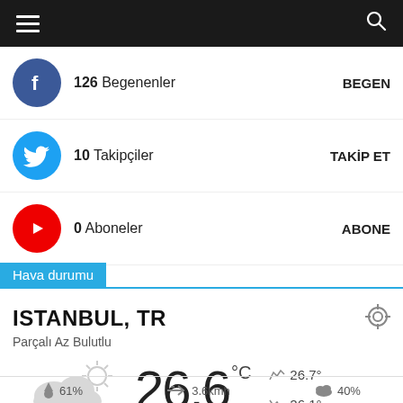Navigation bar with hamburger menu and search icon
126  Begenenler  BEGEN
10  Takipçiler  TAKİP ET
0  Aboneler  ABONE
Hava durumu
ISTANBUL, TR
Parçalı Az Bulutlu
[Figure (illustration): Partly cloudy weather icon — cloud with sun behind it]
26.6 °C  ▲ 26.7°  ▼ 26.1°
💧 61%   ➛ 3.6kmh   ☁ 40%